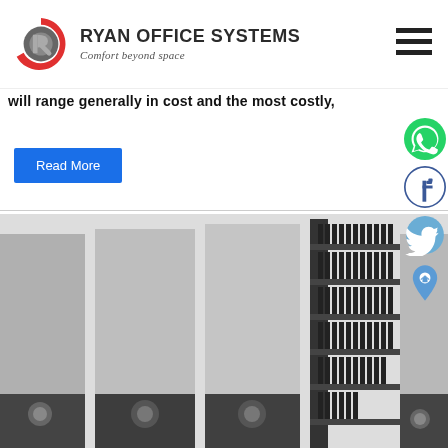[Figure (logo): Ryan Office Systems logo with red and grey circular R icon, company name and tagline 'Comfort beyond space']
will range generally in cost and the most costly,
Read More
[Figure (photo): 3D rendered image of grey mobile shelving storage units with black binders/files visible on shelves]
[Figure (infographic): Social media icons on right side: WhatsApp (green), Facebook (dark blue), Twitter (blue bird), location/home pin (blue)]
[Figure (other): Hamburger menu icon (three horizontal lines) in top right]